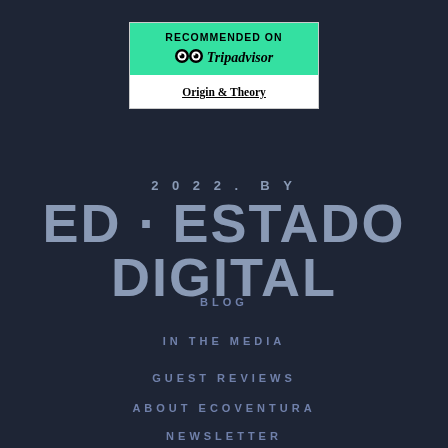[Figure (logo): TripAdvisor 'Recommended On' badge with green top section showing 'RECOMMENDED ON' text and TripAdvisor owl logo, white bottom section showing 'Origin & Theory' underlined text]
2022. BY
ED · ESTADO DIGITAL
BLOG
IN THE MEDIA
GUEST REVIEWS
ABOUT ECOVENTURA
NEWSLETTER